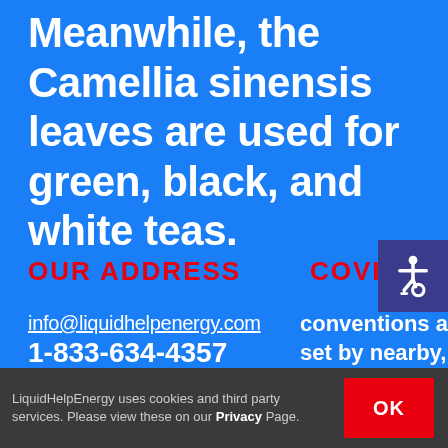Meanwhile, the Camellia sinensis leaves are used for green, black, and white teas.
OUR ADDRESS
COVID
info@liquidhelpenergy.com
1-833-634-4357 (HELP)
conventions are set by nearby, state, and
LiquidHelpEnergy uses cookies and third party services. Please view these on our Privacy Page.